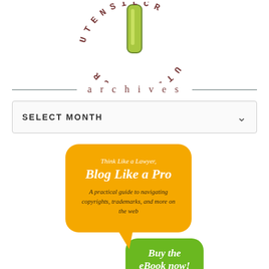[Figure (logo): Circular logo with green kitchen utensil illustration and text 'UTENSIL CR' arranged in an arc, letters appear upside down/rotated]
archives
[Figure (screenshot): Dropdown select box with label SELECT MONTH and a chevron arrow]
[Figure (infographic): Orange speech bubble with text 'Think Like a Lawyer, Blog Like a Pro - A practical guide to navigating copyrights, trademarks, and more on the web' with a green bubble saying 'Buy the eBook now!']